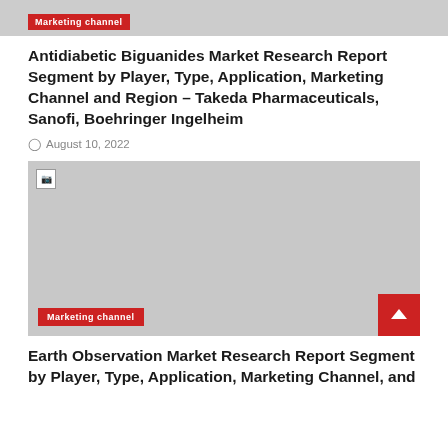[Figure (other): Top image strip with a red 'Marketing channel' badge label at the bottom left]
Antidiabetic Biguanides Market Research Report Segment by Player, Type, Application, Marketing Channel and Region – Takeda Pharmaceuticals, Sanofi, Boehringer Ingelheim
August 10, 2022
[Figure (other): Gray placeholder image block with a broken image icon in the top-left, a red 'Marketing channel' badge in the bottom-left, and a red scroll-to-top arrow button in the bottom-right]
Earth Observation Market Research Report Segment by Player, Type, Application, Marketing Channel, and Region –